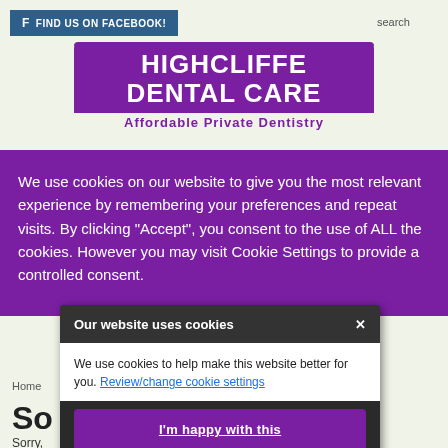f FIND US ON FACEBOOK!    search
[Figure (logo): Highcliffe Dental Care logo with purple background and text 'Affordable Private Dentistry' below]
We use cookies on our website to give you the most relevant experience by remembering your preferences and repeat visits. By clicking “Accept”, you consent to the use of ALL the cookies. However you may visit Cookie Settings to provide a controlled consent.
Our website uses cookies
We use cookies to help make this website better for you. Review/change cookie settings
I'm happy with this